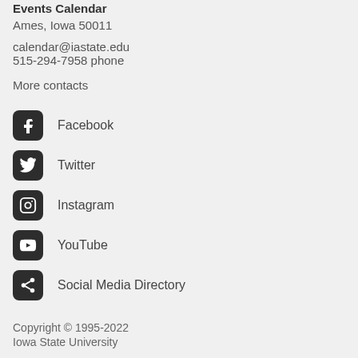Events Calendar
Ames, Iowa 50011
calendar@iastate.edu
515-294-7958 phone
More contacts
Facebook
Twitter
Instagram
YouTube
Social Media Directory
Copyright © 1995-2022
Iowa State University